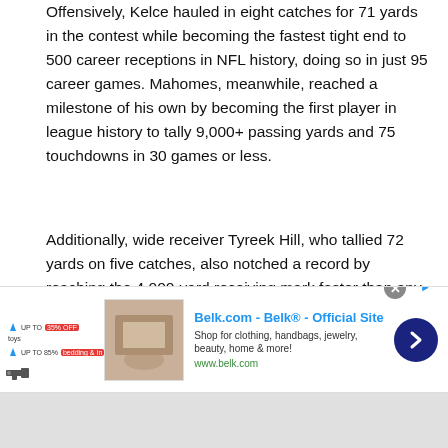Offensively, Kelce hauled in eight catches for 71 yards in the contest while becoming the fastest tight end to 500 career receptions in NFL history, doing so in just 95 career games. Mahomes, meanwhile, reached a milestone of his own by becoming the first player in league history to tally 9,000+ passing yards and 75 touchdowns in 30 games or less.
Additionally, wide receiver Tyreek Hill, who tallied 72 yards on five catches, also notched a record by reaching the 4,000-yard receiving mark faster than any player in franchise history.
All three players contributed to Kansas City's fifth victory in a
[Figure (other): Advertisement banner for Belk.com - Belk Official Site. Shows clothing/home goods thumbnail, ad title in blue, description text, URL, arrow button, and close button.]